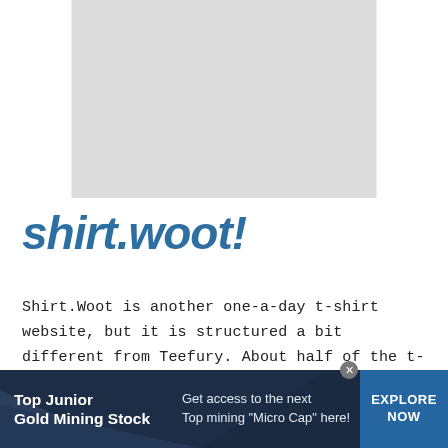[Figure (photo): Gray placeholder rectangle representing an image, centered near top of page]
shirt.woot!
Shirt.Woot is another one-a-day t-shirt website, but it is structured a bit different from Teefury. About half of the t-shirts selected for print are chosen by Shirt.Woot staff and the other half are
[Figure (infographic): Advertisement banner: Top Junior Gold Mining Stock — Get access to the next Top mining "Micro Cap" here! — EXPLORE NOW]